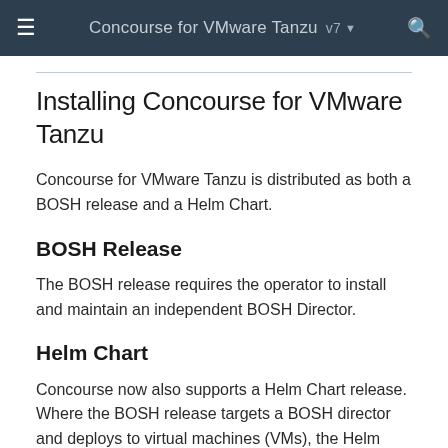≡  Concourse for VMware Tanzu  v7 ▾  🔍
Installing Concourse for VMware Tanzu
Concourse for VMware Tanzu is distributed as both a BOSH release and a Helm Chart.
BOSH Release
The BOSH release requires the operator to install and maintain an independent BOSH Director.
Helm Chart
Concourse now also supports a Helm Chart release. Where the BOSH release targets a BOSH director and deploys to virtual machines (VMs), the Helm Chart release instead targets Kubernetes clusters using the templating and